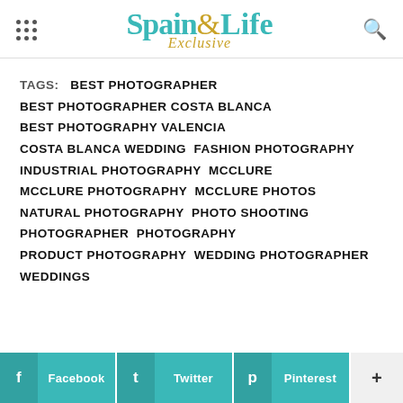[Figure (logo): Spain Life Exclusive logo with teal and gold text]
TAGS: BEST PHOTOGRAPHER BEST PHOTOGRAPHER COSTA BLANCA BEST PHOTOGRAPHY VALENCIA COSTA BLANCA WEDDING FASHION PHOTOGRAPHY INDUSTRIAL PHOTOGRAPHY MCCLURE MCCLURE PHOTOGRAPHY MCCLURE PHOTOS NATURAL PHOTOGRAPHY PHOTO SHOOTING PHOTOGRAPHER PHOTOGRAPHY PRODUCT PHOTOGRAPHY WEDDING PHOTOGRAPHER WEDDINGS
[Figure (infographic): Social share buttons: Facebook, Twitter, Pinterest, and more (+)]